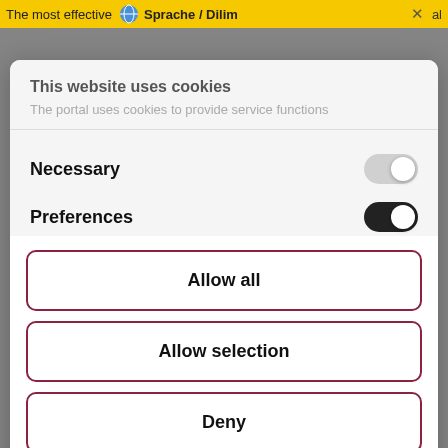[Figure (screenshot): Top browser bar showing partial text 'The most effective' and a language selector popup with 'Sprache / Dilim' text on yellow background]
This website uses cookies
The portal uses cookies to provide service functions
Necessary
Preferences
Allow all
Allow selection
Deny
Powered by Cookiebot by Usercentrics